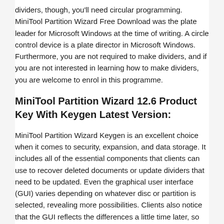dividers, though, you'll need circular programming. MiniTool Partition Wizard Free Download was the plate leader for Microsoft Windows at the time of writing. A circle control device is a plate director in Microsoft Windows. Furthermore, you are not required to make dividers, and if you are not interested in learning how to make dividers, you are welcome to enrol in this programme.
MiniTool Partition Wizard 12.6 Product Key With Keygen Latest Version:
MiniTool Partition Wizard Keygen is an excellent choice when it comes to security, expansion, and data storage. It includes all of the essential components that clients can use to recover deleted documents or update dividers that need to be updated. Even the graphical user interface (GUI) varies depending on whatever disc or partition is selected, revealing more possibilities. Clients also notice that the GUI reflects the differences a little time later, so they don't have to move. This implies that they arrived at the conclusion and gives a summary of their actions. A substantial number